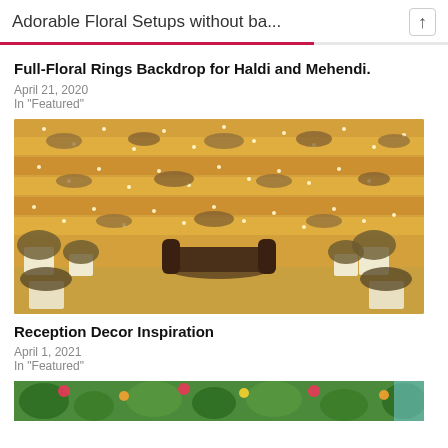Adorable Floral Setups without ba...
Full-Floral Rings Backdrop for Haldi and Mehendi.
April 21, 2020
In "Featured"
[Figure (photo): Wedding reception backdrop with fairy lights and flower arrangements on horizontal shelves, with a chaise longue sofa and flower pots in front]
Reception Decor Inspiration
April 1, 2021
In "Featured"
[Figure (photo): Partial view of a colorful floral arrangement at the bottom of the page]